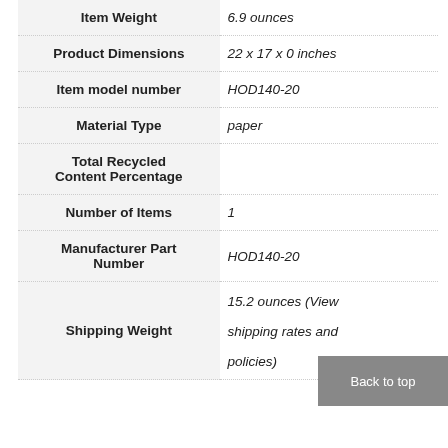| Attribute | Value |
| --- | --- |
| Item Weight | 6.9 ounces |
| Product Dimensions | 22 x 17 x 0 inches |
| Item model number | HOD140-20 |
| Material Type | paper |
| Total Recycled Content Percentage |  |
| Number of Items | 1 |
| Manufacturer Part Number | HOD140-20 |
| Shipping Weight | 15.2 ounces (View shipping rates and policies) |
Back to top